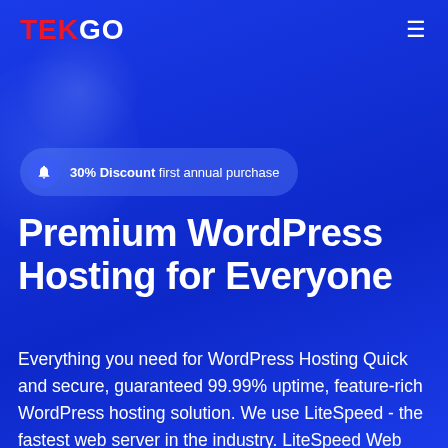TEKGO
30% Discount first annual purchase
Premium WordPress Hosting for Everyone
Everything you need for WordPress Hosting Quick and secure, guaranteed 99.99% uptime, feature-rich WordPress hosting solution. We use LiteSpeed - the fastest web server in the industry. LiteSpeed Web Server delivers a variety of advanced features, exceptional scalability and first-class WordPress site